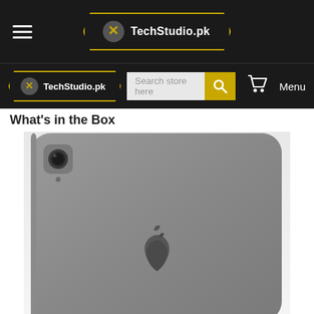TechStudio.pk — top navigation bar with hamburger menu, logo, search bar, cart, and Menu
What's in the Box
[Figure (photo): Rear view of a space gray Apple iPad showing the back camera module in the top-left corner and the Apple logo centered on the back panel.]